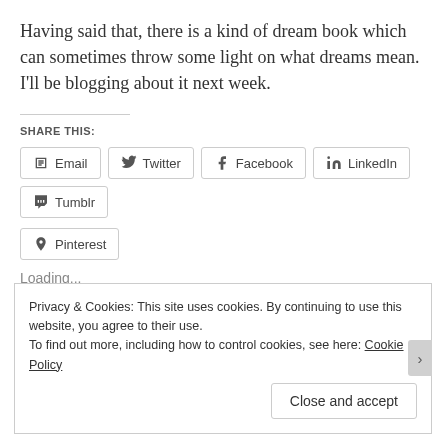Having said that, there is a kind of dream book which can sometimes throw some light on what dreams mean. I'll be blogging about it next week.
SHARE THIS:
Email  Twitter  Facebook  LinkedIn  Tumblr  Pinterest
Loading...
Privacy & Cookies: This site uses cookies. By continuing to use this website, you agree to their use. To find out more, including how to control cookies, see here: Cookie Policy
Close and accept